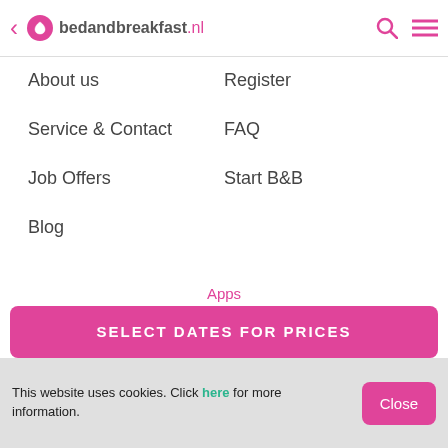< bedandbreakfast.nl
About us
Register
Service & Contact
FAQ
Job Offers
Start B&B
Blog
Apps
Booking a bed & breakfast from your mobile or tablet? Download Bedandbreakfast.nl's free apps:
[Figure (screenshot): Find it on Google Play badge]
[Figure (screenshot): Download in the App Store badge]
SELECT DATES FOR PRICES
This website uses cookies. Click here for more information.